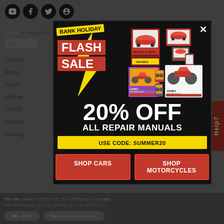[Figure (screenshot): Website background with social media icons (YouTube, Facebook, Twitter, Pinterest), navigation links (Contact, About, Trade, Affiliate, COVID, Foreign, Catalog), and a cookie consent bar at the bottom.]
[Figure (infographic): Bank Holiday Flash Sale popup modal on dark background. Shows lightning bolt graphic in yellow, FLASH SALE text in red, images of Haynes repair manuals for cars and motorcycles, 20% OFF ALL REPAIR MANUALS text, USE CODE: SUMMER20 in yellow bar, and two red buttons: SHOP CARS and SHOP MOTORCYCLES.]